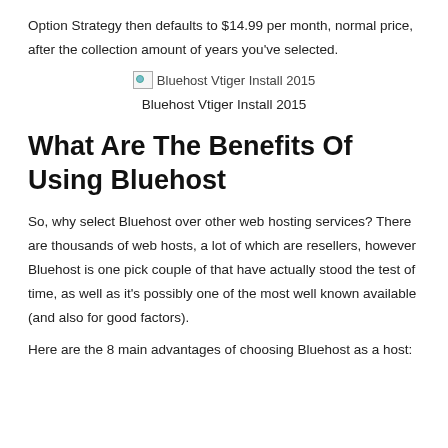Option Strategy then defaults to $14.99 per month, normal price, after the collection amount of years you've selected.
[Figure (photo): Broken image placeholder labeled 'Bluehost Vtiger Install 2015']
Bluehost Vtiger Install 2015
What Are The Benefits Of Using Bluehost
So, why select Bluehost over other web hosting services? There are thousands of web hosts, a lot of which are resellers, however Bluehost is one pick couple of that have actually stood the test of time, as well as it's possibly one of the most well known available (and also for good factors).
Here are the 8 main advantages of choosing Bluehost as a host: